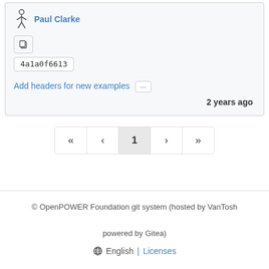Paul Clarke
4a1a0f6613
Add headers for new examples ...
2 years ago
[Figure (other): Pagination control with arrows and page number 1]
© OpenPOWER Foundation git system (hosted by VanTosh powered by Gitea)
⊕ English | Licenses